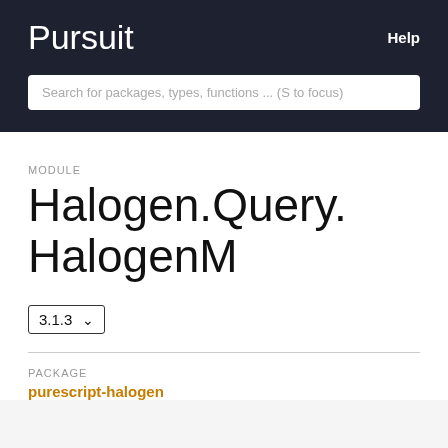Pursuit   Help
Search for packages, types, functions ... (S to focus)
MODULE
Halogen.Query.HalogenM
3.1.3
PACKAGE
purescript-halogen